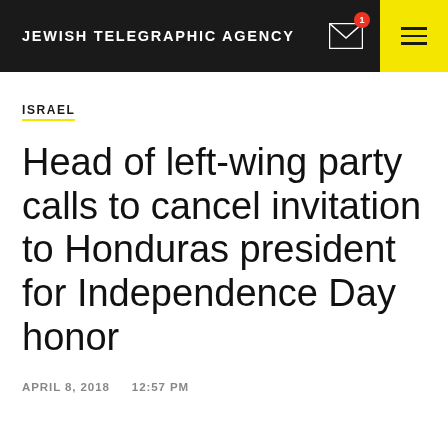JEWISH TELEGRAPHIC AGENCY
ISRAEL
Head of left-wing party calls to cancel invitation to Honduras president for Independence Day honor
APRIL 8, 2018    12:57 PM